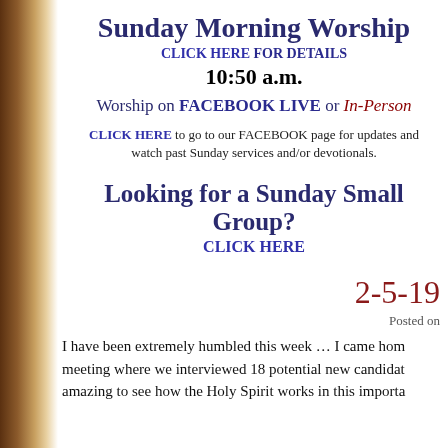Sunday Morning Worship
CLICK HERE FOR DETAILS
10:50 a.m.
Worship on FACEBOOK LIVE or In-Person
CLICK HERE to go to our FACEBOOK page for updates and watch past Sunday services and/or devotionals.
Looking for a Sunday Small Group? CLICK HERE
2-5-19
Posted on
I have been extremely humbled this week ... I came hom meeting where we interviewed 18 potential new candidat amazing to see how the Holy Spirit works in this importa